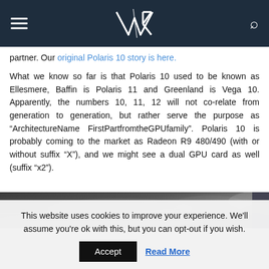VR [logo with hamburger menu and search icon]
partner. Our original Polaris 10 story is here.
What we know so far is that Polaris 10 used to be known as Ellesmere, Baffin is Polaris 11 and Greenland is Vega 10. Apparently, the numbers 10, 11, 12 will not co-relate from generation to generation, but rather serve the purpose as “ArchitectureName FirstPartfromtheGPUfamily”. Polaris 10 is probably coming to the market as Radeon R9 480/490 (with or without suffix “X”), and we might see a dual GPU card as well (suffix “x2”).
[Figure (photo): Close-up photo of GPU hardware component]
This website uses cookies to improve your experience. We'll assume you're ok with this, but you can opt-out if you wish.
Accept | Read More